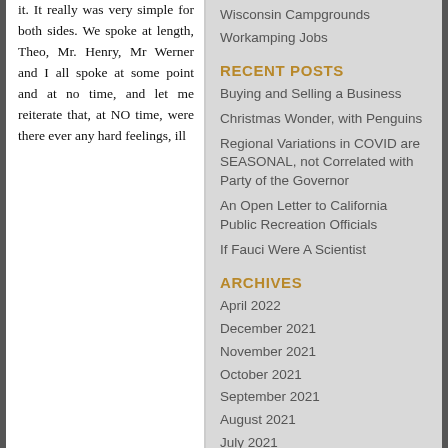it. It really was very simple for both sides. We spoke at length, Theo, Mr. Henry, Mr Werner and I all spoke at some point and at no time, and let me reiterate that, at NO time, were there ever any hard feelings, ill
Wisconsin Campgrounds
Workamping Jobs
RECENT POSTS
Buying and Selling a Business
Christmas Wonder, with Penguins
Regional Variations in COVID are SEASONAL, not Correlated with Party of the Governor
An Open Letter to California Public Recreation Officials
If Fauci Were A Scientist
ARCHIVES
April 2022
December 2021
November 2021
October 2021
September 2021
August 2021
July 2021
June 2021